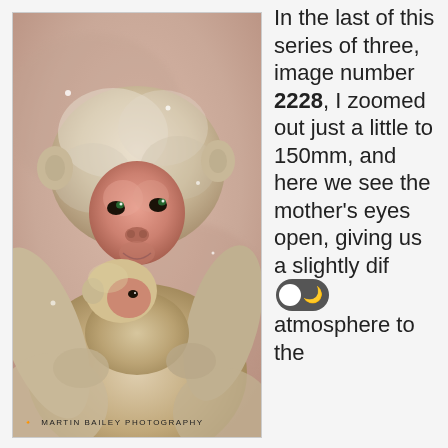[Figure (photo): A Japanese snow monkey (macaque) mother holding a baby/infant monkey, both with fluffy fur. The mother's face is pink/red with eyes open looking forward. Soft warm blurred background. Photograph by Martin Bailey Photography.]
In the last of this series of three, image number 2228, I zoomed out just a little to 150mm, and here we see the mother's eyes open, giving us a slightly different atmosphere to the